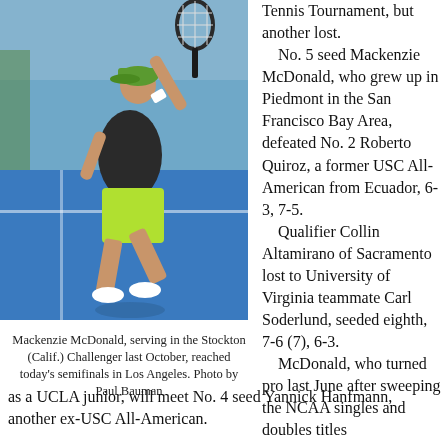[Figure (photo): Tennis player Mackenzie McDonald serving on a blue hard court, wearing dark shirt and neon green shorts, mid-serve motion]
Mackenzie McDonald, serving in the Stockton (Calif.) Challenger last October, reached today's semifinals in Los Angeles. Photo by Paul Bauman
Tennis Tournament, but another lost.

No. 5 seed Mackenzie McDonald, who grew up in Piedmont in the San Francisco Bay Area, defeated No. 2 Roberto Quiroz, a former USC All-American from Ecuador, 6-3, 7-5.

Qualifier Collin Altamirano of Sacramento lost to University of Virginia teammate Carl Soderlund, seeded eighth, 7-6 (7), 6-3.

McDonald, who turned pro last June after sweeping the NCAA singles and doubles titles as a UCLA junior, will meet No. 4 seed Yannick Hanfmann, another ex-USC All-American.